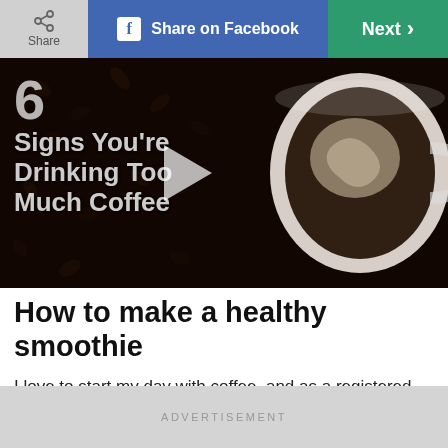Share | Share on Facebook | Next >
[Figure (screenshot): Video thumbnail showing '6 Signs You're Drinking Too Much Coffee' with a coffee cup image and play button overlay]
How to make a healthy smoothie
I love to start my day with coffee, and as a registered dietitian, I'm happy to report that a daily coffee ritual is good for you,
ADVERTISEMENT